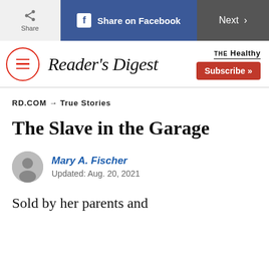Share | Share on Facebook | Next >
Reader's Digest | THE Healthy | Subscribe >>
RD.COM → True Stories
The Slave in the Garage
Mary A. Fischer
Updated: Aug. 20, 2021
Sold by her parents and